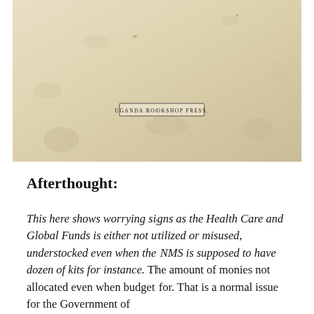[Figure (photo): Aged, yellowed paper or document page with 'Uganda Bookshop Press.' printed in small text near the center of the image.]
Afterthought:
This here shows worrying signs as the Health Care and Global Funds is either not utilized or misused, understocked even when the NMS is supposed to have dozen of kits for instance. The amount of monies not allocated even when budget for. That is a normal issue for the Government of